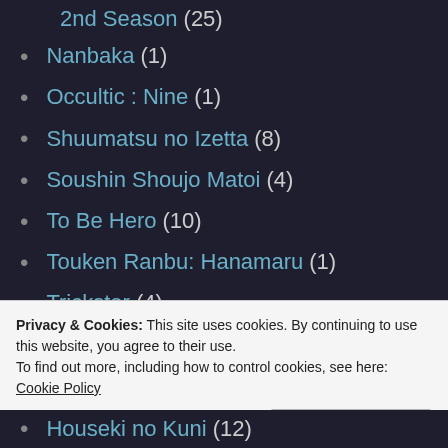2nd Season (25)
Nanbaka (1)
Occultic : Nine (1)
Shuumatsu no Izetta (8)
Soushin Shoujo Matoi (4)
To Be Hero (10)
Touken Ranbu: Hanamaru (1)
Trickster (4)
Watashi ga Motete Dousunda (12)
WWW.Working!! (5)
Yuri!!! on Ice (12)
Privacy & Cookies: This site uses cookies. By continuing to use this website, you agree to their use. To find out more, including how to control cookies, see here: Cookie Policy
Houseki no Kuni (12)